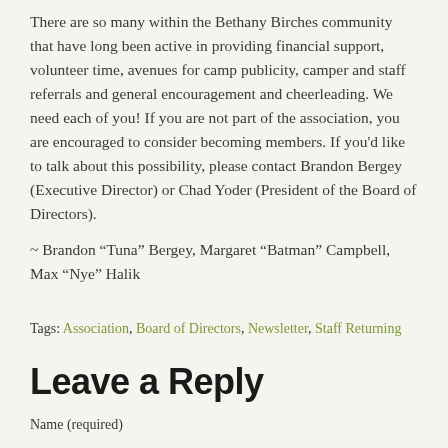There are so many within the Bethany Birches community that have long been active in providing financial support, volunteer time, avenues for camp publicity, camper and staff referrals and general encouragement and cheerleading. We need each of you! If you are not part of the association, you are encouraged to consider becoming members. If you'd like to talk about this possibility, please contact Brandon Bergey (Executive Director) or Chad Yoder (President of the Board of Directors).
~ Brandon “Tuna” Bergey, Margaret “Batman” Campbell, Max “Nye” Halik
Tags: Association, Board of Directors, Newsletter, Staff Returning
Leave a Reply
Name (required)